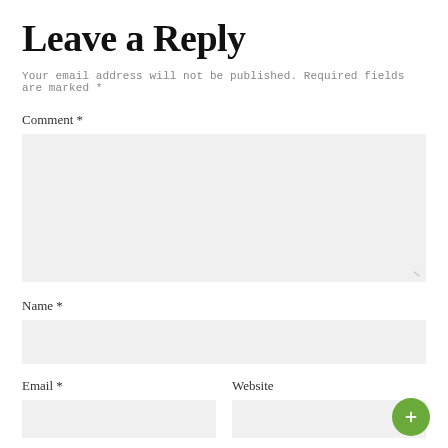Leave a Reply
Your email address will not be published. Required fields are marked *
Comment *
[Figure (other): Comment text area input box (large, light gray background)]
Name *
[Figure (other): Name input field (light gray background)]
Email *
Website
[Figure (other): Email input field (light gray, half width) and Website input field (light gray, half width) side by side; green circular button on bottom right]